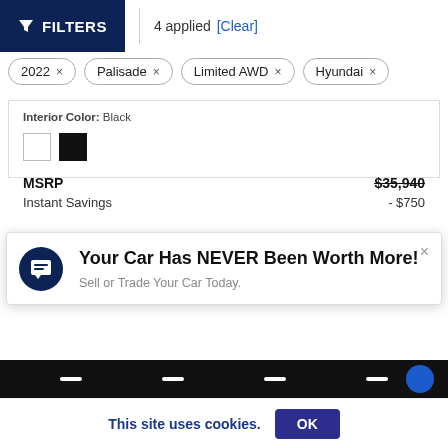FILTERS | 4 applied [Clear]
2022 ×
Palisade ×
Limited AWD ×
Hyundai ×
Interior Color: Black
MSRP  $35,940
Instant Savings  - $750
[Figure (infographic): Popup notification: chat icon on dark blue circle, close X button, title 'Your Car Has NEVER Been Worth More!', subtitle 'Sell or Trade Your Car Today.']
Military Program  - $500
College Graduate Program  - $400
from $621 /mo
This site uses cookies.
OK